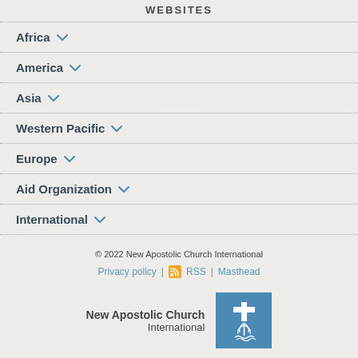WEBSITES
Africa
America
Asia
Western Pacific
Europe
Aid Organization
International
© 2022 New Apostolic Church International
Privacy policy | RSS | Masthead
New Apostolic Church International